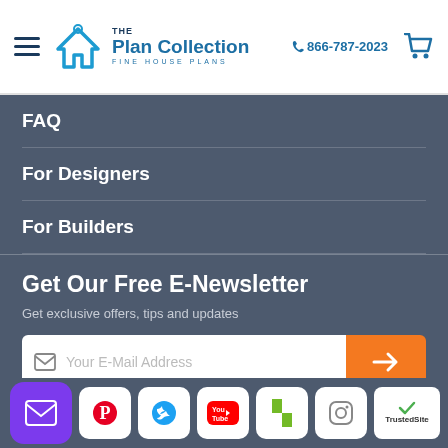The Plan Collection — Fine House Plans | 866-787-2023
FAQ
For Designers
For Builders
Get Our Free E-Newsletter
Get exclusive offers, tips and updates
Stay Connected
[Figure (screenshot): Email subscription input box with mail icon placeholder text 'Your E-Mail Address' and orange submit arrow button]